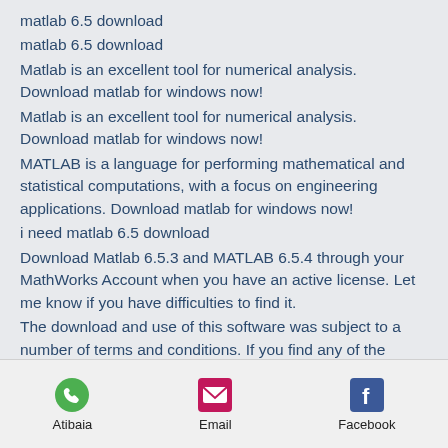matlab 6.5 download
matlab 6.5 download
Matlab is an excellent tool for numerical analysis. Download matlab for windows now!
Matlab is an excellent tool for numerical analysis. Download matlab for windows now!
MATLAB is a language for performing mathematical and statistical computations, with a focus on engineering applications. Download matlab for windows now!
i need matlab 6.5 download
Download Matlab 6.5.3 and MATLAB 6.5.4 through your MathWorks Account when you have an active license. Let me know if you have difficulties to find it.
The download and use of this software was subject to a number of terms and conditions. If you find any of the following you may not be able to use it.
Atibaia   Email   Facebook